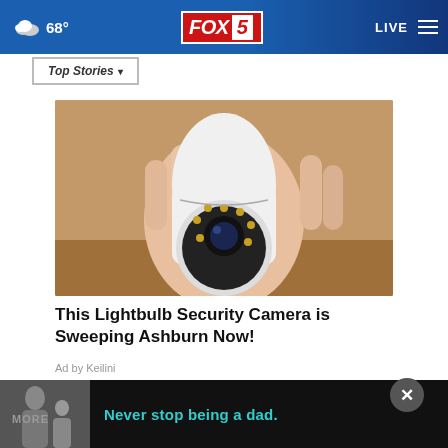68° FOX 5 LIVE
Top Stories ▾
[Figure (photo): A hand holding a white lightbulb-shaped security camera with a camera lens on the front surrounded by IR LEDs]
This Lightbulb Security Camera is Sweeping Ashburn Now!
Ad by Keilini
[Figure (photo): Bottom banner ad showing black and white photo of a man with a child, with cyan text: Never stop being a dad.]